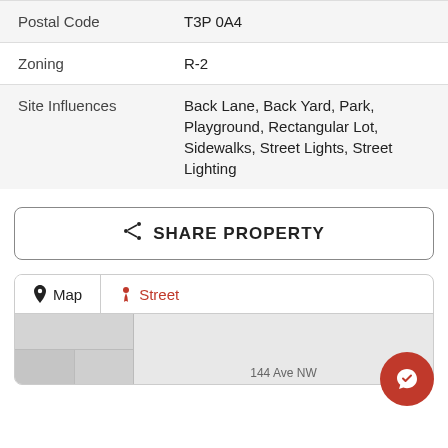| Field | Value |
| --- | --- |
| Postal Code | T3P 0A4 |
| Zoning | R-2 |
| Site Influences | Back Lane, Back Yard, Park, Playground, Rectangular Lot, Sidewalks, Street Lights, Street Lighting |
SHARE PROPERTY
[Figure (map): Map and Street view tabs with map tile preview and partial street address '144 Ave NW' visible at bottom]